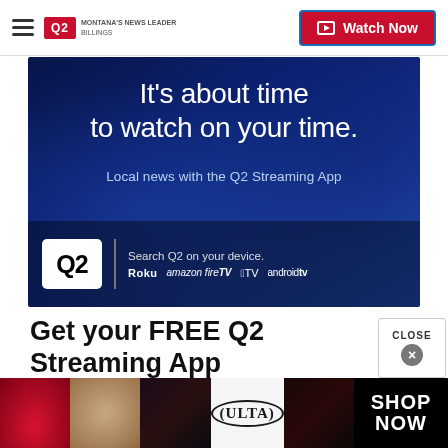Q2 MONTANA'S NEWS LEADER | Watch Now
[Figure (photo): Q2 streaming app advertisement banner with dark blue background showing a hand holding a phone. Text reads: It's about time to watch on your time. Local news with the Q2 Streaming App. Search Q2 on your device. Roku, Amazon Fire TV, Apple TV, Android TV.]
Get your FREE Q2 Streaming App
[Figure (photo): Bottom advertisement banner for Ulta Beauty showing closeup images of lips with lipstick, a makeup brush, eyes with makeup, the Ulta Beauty logo, and eyes with dramatic makeup. Right side shows SHOP NOW text on black background.]